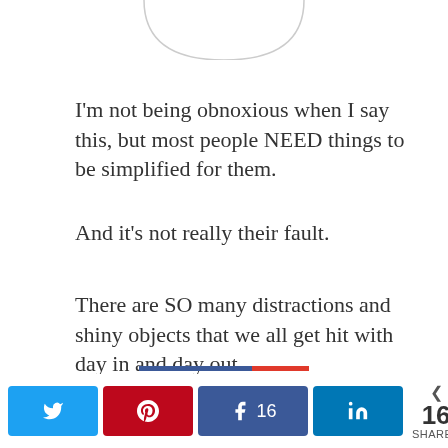[Figure (illustration): Bottom portion of a circular profile photo/avatar, showing just the lower arc of the circle border]
I'm not being obnoxious when I say this, but most people NEED things to be simplified for them.
And it's not really their fault.
There are SO many distractions and shiny objects that we all get hit with day in and day out.
But you gotta have a filter.
[Figure (infographic): Social share buttons bar: Twitter button, Pinterest button, Facebook button with 16 count, LinkedIn button, and share count showing 16 SHARES]